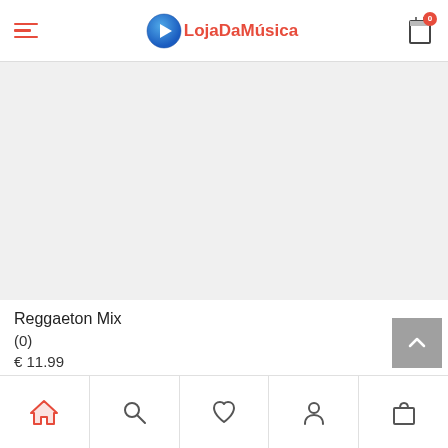LojaDaMúsica
[Figure (screenshot): Product image placeholder area (light grey background, no image visible)]
Reggaeton Mix
(0)
€ 11.99
Adicionar
[Figure (other): Back to top button with upward chevron arrow, grey background]
Home | Search | Wishlist | Account | Cart